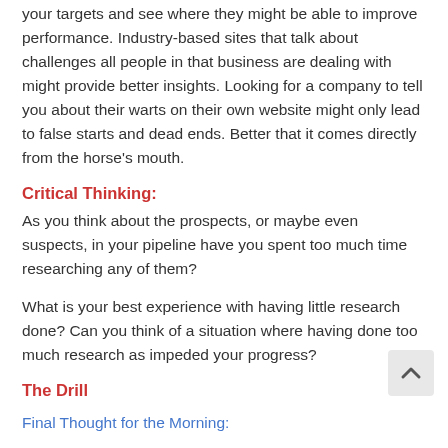your targets and see where they might be able to improve performance. Industry-based sites that talk about challenges all people in that business are dealing with might provide better insights. Looking for a company to tell you about their warts on their own website might only lead to false starts and dead ends. Better that it comes directly from the horse's mouth.
Critical Thinking:
As you think about the prospects, or maybe even suspects, in your pipeline have you spent too much time researching any of them?
What is your best experience with having little research done? Can you think of a situation where having done too much research as impeded your progress?
The Drill
Final Thought for the Morning: